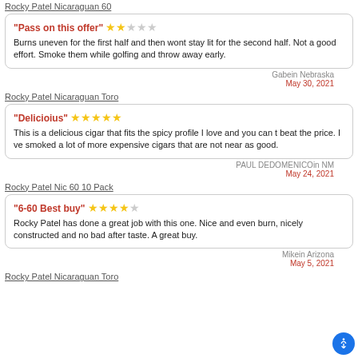Rocky Patel Nicaraguan 60
"Pass on this offer" ★★☆☆☆
Burns uneven for the first half and then wont stay lit for the second half. Not a good effort. Smoke them while golfing and throw away early.
Gabein Nebraska
May 30, 2021
Rocky Patel Nicaraguan Toro
"Delicioius" ★★★★★
This is a delicious cigar that fits the spicy profile I love and you can t beat the price. I ve smoked a lot of more expensive cigars that are not near as good.
PAUL DEDOMENICOin NM
May 24, 2021
Rocky Patel Nic 60 10 Pack
"6-60 Best buy" ★★★★☆
Rocky Patel has done a great job with this one. Nice and even burn, nicely constructed and no bad after taste. A great buy.
Mikein Arizona
May 5, 2021
Rocky Patel Nicaraguan Toro